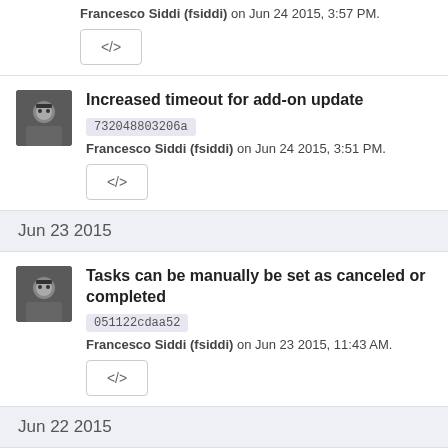Francesco Siddi (fsiddi) on Jun 24 2015, 3:57 PM.
</>
Increased timeout for add-on update
732048803206a
Francesco Siddi (fsiddi) on Jun 24 2015, 3:51 PM.
</>
Jun 23 2015
Tasks can be manually be set as canceled or completed
051122cdaa52
Francesco Siddi (fsiddi) on Jun 23 2015, 11:43 AM.
</>
Jun 22 2015